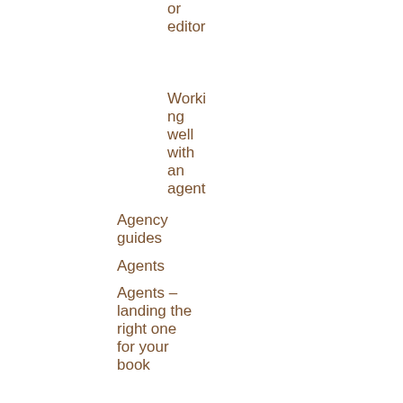or editor
Working well with an agent
Agency guides
Agents
Agents – landing the right one for your book
Agency submission guideli…